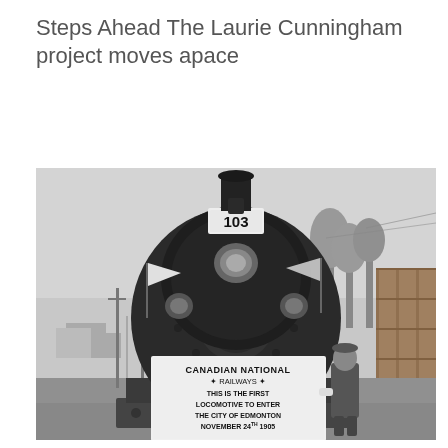Steps Ahead The Laurie Cunningham project moves apace
[Figure (photo): Black and white historical photograph of the front of Canadian National Railways locomotive number 103, which bears a sign reading 'CANADIAN NATIONAL RAILWAYS * THIS IS THE FIRST LOCOMOTIVE TO ENTER THE CITY OF EDMONTON NOVEMBER 24TH 1905'. Two small white flags are mounted on either side of the locomotive boiler. A man in a coat and cap stands to the right of the locomotive. Wooden fence visible on the right, utility poles and small buildings in the background on the left.]